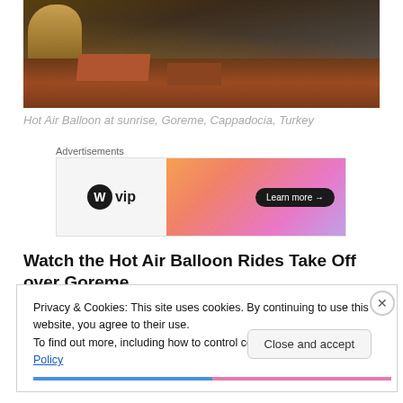[Figure (photo): Aerial view of Goreme, Cappadocia, Turkey at sunrise showing rooftops and rock formations]
Hot Air Balloon at sunrise, Goreme, Cappadocia, Turkey
Advertisements
[Figure (screenshot): WordPress VIP advertisement banner with orange-pink gradient and Learn more button]
Watch the Hot Air Balloon Rides Take Off over Goreme
Privacy & Cookies: This site uses cookies. By continuing to use this website, you agree to their use.
To find out more, including how to control cookies, see here: Cookie Policy